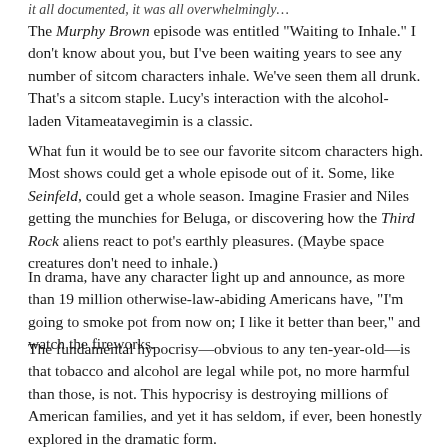it all documented, it was all overwhelmingly…
The Murphy Brown episode was entitled "Waiting to Inhale." I don't know about you, but I've been waiting years to see any number of sitcom characters inhale. We've seen them all drunk. That's a sitcom staple. Lucy's interaction with the alcohol-laden Vitameatavegimin is a classic.
What fun it would be to see our favorite sitcom characters high. Most shows could get a whole episode out of it. Some, like Seinfeld, could get a whole season. Imagine Frasier and Niles getting the munchies for Beluga, or discovering how the Third Rock aliens react to pot's earthly pleasures. (Maybe space creatures don't need to inhale.)
In drama, have any character light up and announce, as more than 19 million otherwise-law-abiding Americans have, "I'm going to smoke pot from now on; I like it better than beer," and watch the fireworks.
The fundamental hypocrisy—obvious to any ten-year-old—is that tobacco and alcohol are legal while pot, no more harmful than those, is not. This hypocrisy is destroying millions of American families, and yet it has seldom, if ever, been honestly explored in the dramatic form.